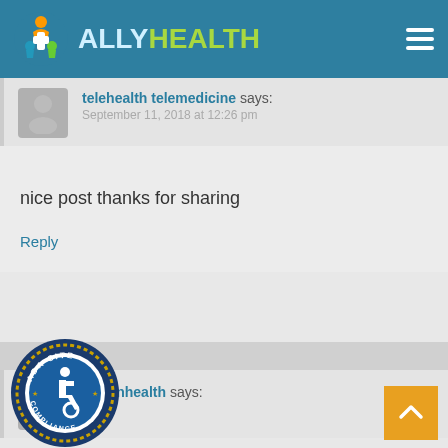ALLY HEALTH
telehealth telemedicine says:
September 11, 2018 at 12:26 pm
nice post thanks for sharing
Reply
chironhealth says:
[Figure (logo): ADA Site Compliance badge with wheelchair accessibility symbol]
[Figure (logo): AllyHealth logo with circular icon of people and medical cross]